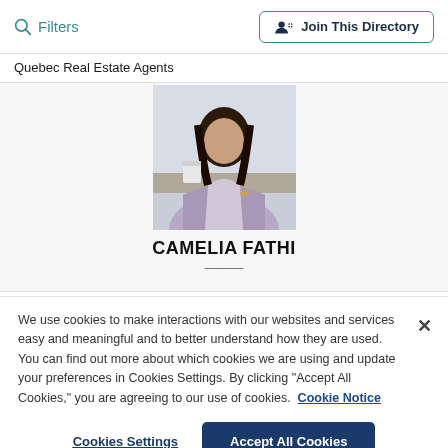Filters   Join This Directory
Quebec Real Estate Agents
[Figure (photo): Profile photo of Camelia Fathi, a woman in a light purple blazer seated at a desk]
CAMELIA FATHI
We use cookies to make interactions with our websites and services easy and meaningful and to better understand how they are used. You can find out more about which cookies we are using and update your preferences in Cookies Settings. By clicking “Accept All Cookies,” you are agreeing to our use of cookies.  Cookie Notice
Cookies Settings   Accept All Cookies